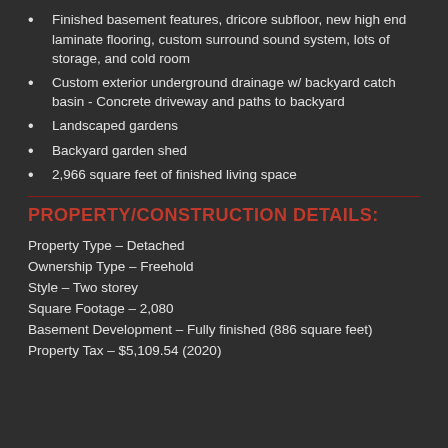Finished basement features, dricore subfloor, new high end laminate flooring, custom surround sound system, lots of storage, and cold room
Custom exterior underground drainage w/ backyard catch basin - Concrete driveway and paths to backyard
Landscaped gardens
Backyard garden shed
2,966 square feet of finished living space
PROPERTY/CONSTRUCTION DETAILS:
Property Type – Detached
Ownership Type – Freehold
Style – Two storey
Square Footage – 2,080
Basement Development – Fully finished (886 square feet)
Property Tax – $5,109.54 (2020)